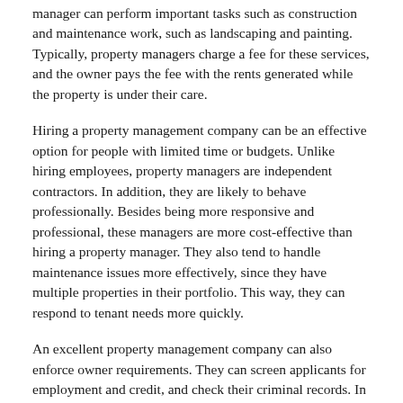manager can perform important tasks such as construction and maintenance work, such as landscaping and painting. Typically, property managers charge a fee for these services, and the owner pays the fee with the rents generated while the property is under their care.
Hiring a property management company can be an effective option for people with limited time or budgets. Unlike hiring employees, property managers are independent contractors. In addition, they are likely to behave professionally. Besides being more responsive and professional, these managers are more cost-effective than hiring a property manager. They also tend to handle maintenance issues more effectively, since they have multiple properties in their portfolio. This way, they can respond to tenant needs more quickly.
An excellent property management company can also enforce owner requirements. They can screen applicants for employment and credit, and check their criminal records. In addition, they can even hire third-party contractors for more complex jobs. They can help minimize taxes and protect important documentation. Property managers can help you avoid a lot of hassles, including tenant complaints and repairs. These services also ensure that your property...